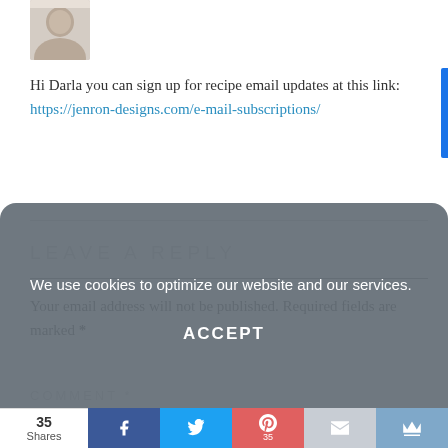[Figure (photo): Small avatar/profile photo of a person with light hair, cropped square thumbnail]
Hi Darla you can sign up for recipe email updates at this link: https://jenron-designs.com/e-mail-subscriptions/
LEAVE A REPLY
Your email address will not be published. Required fields are marked *
COMMENT *
We use cookies to optimize our website and our services.
ACCEPT
35
Shares